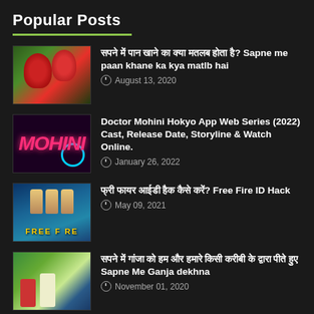Popular Posts
सपने में पान खाने का क्या मतलब होता है? Sapne me paan khane ka kya matlb hai · August 13, 2020
Doctor Mohini Hokyo App Web Series (2022) Cast, Release Date, Storyline & Watch Online. · January 26, 2022
फ्री फायर आईडी हैक कैसे करें? Free Fire ID Hack · May 09, 2021
सपने में गांजा को हम और हमारे किसी करीबी के द्वारा पीते हुए Sapne Me Ganja dekhna · November 01, 2020
सपने में बुआ को और फूफा को हम क्यों देखते है? Sapne Me Bua, Fufa Ko Dekhna